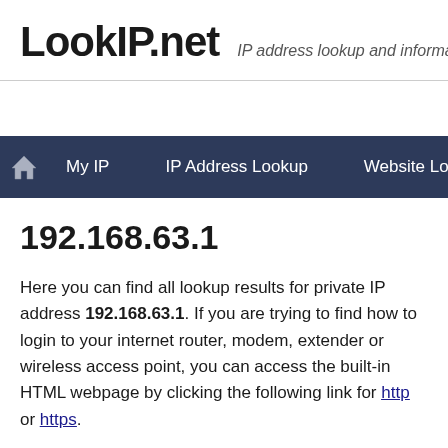LookIP.net — IP address lookup and information too
Home | My IP | IP Address Lookup | Website Lookup
192.168.63.1
Here you can find all lookup results for private IP address 192.168.63.1. If you are trying to find how to login to your internet router, modem, extender or wireless access point, you can access the built-in HTML webpage by clicking the following link for http or https.
The most used default username and password to gain access to the administrative interface is 'admin' or 'setup' and in case of a TP Link, Netgear or D-Link wireless (or Wi-Fi) router you can also find the default settings on the back of the device. If